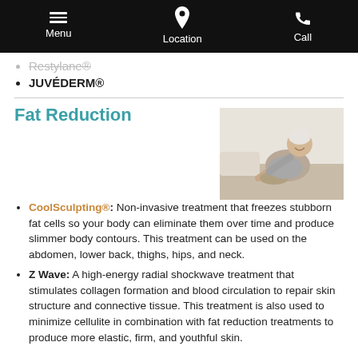Menu  Location  Call
Restylane®
JUVÉDERM®
Fat Reduction
[Figure (photo): Older woman with white hair smiling and stretching on a bed, wearing grey athletic wear]
CoolSculpting®: Non-invasive treatment that freezes stubborn fat cells so your body can eliminate them over time and produce slimmer body contours. This treatment can be used on the abdomen, lower back, thighs, hips, and neck.
Z Wave: A high-energy radial shockwave treatment that stimulates collagen formation and blood circulation to repair skin structure and connective tissue. This treatment is also used to minimize cellulite in combination with fat reduction treatments to produce more elastic, firm, and youthful skin.